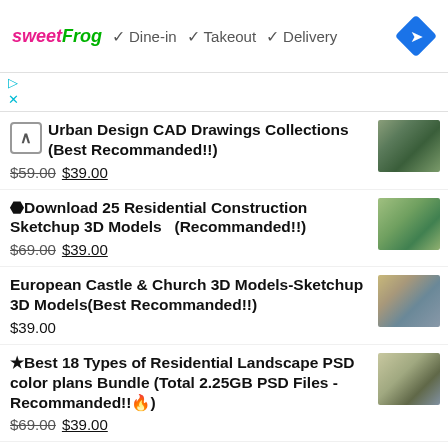[Figure (screenshot): Ad banner with sweetFrog logo, Dine-in, Takeout, Delivery checkmarks, and navigation diamond icon]
Urban Design CAD Drawings Collections (Best Recommanded!!) $59.00 $39.00
⬣Download 25 Residential Construction Sketchup 3D Models (Recommanded!!) $69.00 $39.00
European Castle & Church 3D Models-Sketchup 3D Models(Best Recommanded!!) $39.00
★Best 18 Types of Residential Landscape PSD color plans Bundle (Total 2.25GB PSD Files - Recommanded!!🔥) $69.00 $39.00
★Best 56 Types of Residential Interior Design PSD color plans Bundle (Total 1.5GB PSD Files…